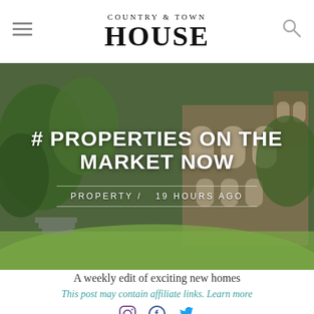COUNTRY & TOWN HOUSE
[Figure (photo): Exterior photo of a Victorian-style country house with large glass conservatory windows, surrounded by lush green trees and garden, used as hero background image for article '# Properties On The Market Now']
# PROPERTIES ON THE MARKET NOW
PROPERTY /  19 HOURS AGO
A weekly edit of exciting new homes
This post may contain affiliate links. Learn more
[Figure (illustration): Social media icons: Instagram, Facebook, Twitter]